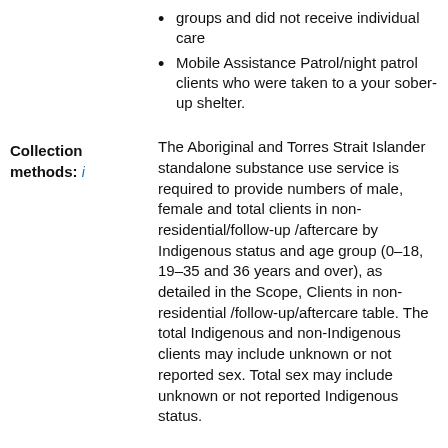groups and did not receive individual care
Mobile Assistance Patrol/night patrol clients who were taken to a your sober-up shelter.
Collection methods: i
The Aboriginal and Torres Strait Islander standalone substance use service is required to provide numbers of male, female and total clients in non-residential/follow-up/aftercare by Indigenous status and age group (0–18, 19–35 and 36 years and over), as detailed in the Scope, Clients in non-residential/follow-up/aftercare table. The total Indigenous and non-Indigenous clients may include unknown or not reported sex. Total sex may include unknown or not reported Indigenous status.